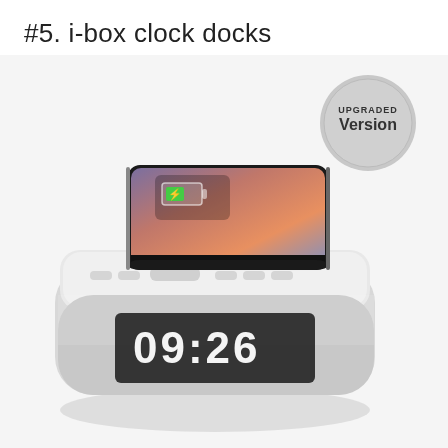#5. i-box clock docks
[Figure (photo): Photo of an i-box clock dock speaker with a smartphone resting on top wirelessly charging. The device is a rounded rectangular speaker with light gray fabric covering, white top panel with control buttons, and a white LED display showing '09:26'. A badge in the top right corner reads 'UPGRADED Version'.]